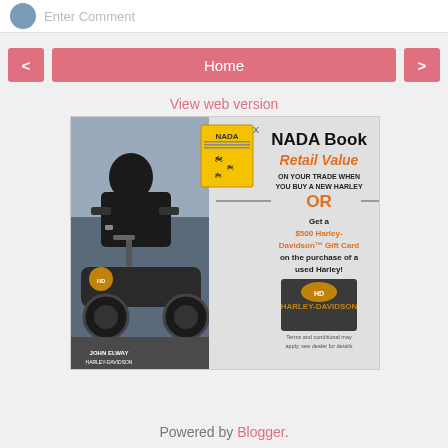Enter Comment
< Home >
View web version
[Figure (advertisement): NADA Book Retail Value advertisement for Harley-Davidson. Left side shows motorcyclist on Harley. Right side shows NADA Book offer: Retail Value on your trade when you buy a new Harley OR Get a $500 Harley-Davidson Gift Card on the purchase of a used Harley! John Elway Harley-Davidson logo at bottom left. Terms and conditions may apply, see dealer for details.]
Powered by Blogger.